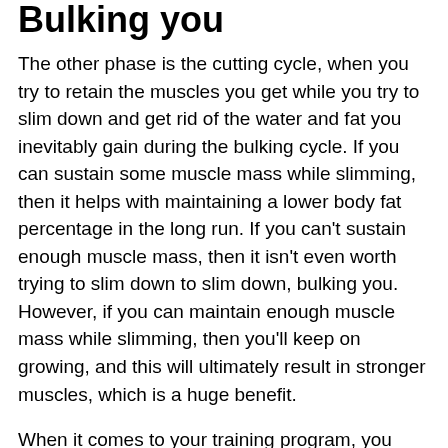Bulking you
The other phase is the cutting cycle, when you try to retain the muscles you get while you try to slim down and get rid of the water and fat you inevitably gain during the bulking cycle. If you can sustain some muscle mass while slimming, then it helps with maintaining a lower body fat percentage in the long run. If you can't sustain enough muscle mass, then it isn't even worth trying to slim down to slim down, bulking you. However, if you can maintain enough muscle mass while slimming, then you'll keep on growing, and this will ultimately result in stronger muscles, which is a huge benefit.
When it comes to your training program, you want to see what works best for your body type, bulking vs cutting macros. That's a tough one to get in your head, and it's really not an easy decision. Some trainers recommend an aggressive training program